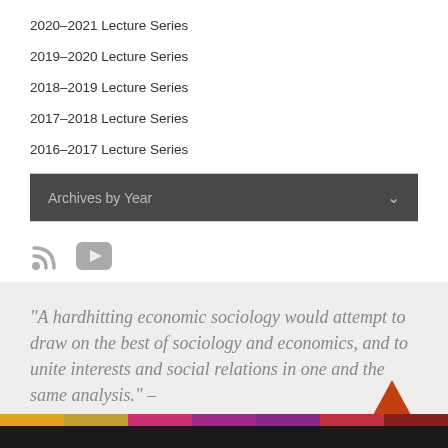2020–2021 Lecture Series
2019–2020 Lecture Series
2018–2019 Lecture Series
2017–2018 Lecture Series
2016–2017 Lecture Series
Archives by Year
[Figure (other): RSS feed icon and YouTube icon]
“A hardhitting economic sociology would attempt to draw on the best of sociology and economics, and to unite interests and social relations in one and the same analysis.” – Richard Swedberg